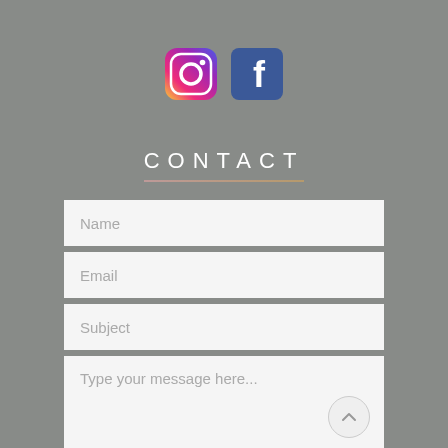[Figure (logo): Instagram and Facebook social media icons side by side]
CONTACT
Name
Email
Subject
Type your message here...